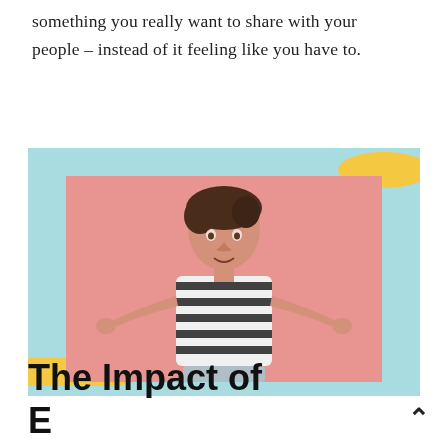something you really want to share with your people – instead of it feeling like you have to.
[Figure (photo): Woman with short dark hair wearing a black-and-white striped shirt, shrugging with both hands raised, against a pink background. The image is framed with a light blue border and yellow decorative shapes in the corners.]
The Impact of